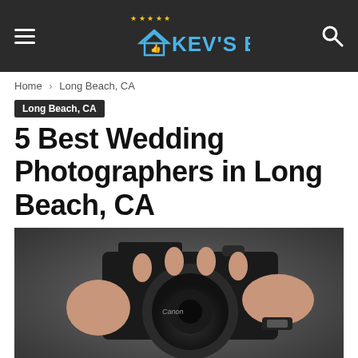KEV'S BEST
Home › Long Beach, CA
Long Beach, CA
5 Best Wedding Photographers in Long Beach, CA
[Figure (photo): Person holding a Canon DSLR camera, hands visible, wearing a watch, photographed close-up.]